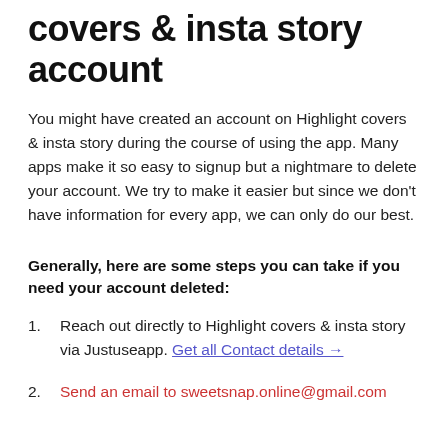covers & insta story account
You might have created an account on Highlight covers & insta story during the course of using the app. Many apps make it so easy to signup but a nightmare to delete your account. We try to make it easier but since we don't have information for every app, we can only do our best.
Generally, here are some steps you can take if you need your account deleted:
Reach out directly to Highlight covers & insta story via Justuseapp. Get all Contact details →
Send an email to sweetsnap.online@gmail.com